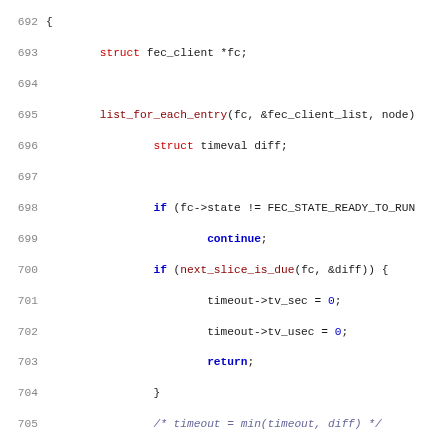[Figure (screenshot): Source code listing in C showing lines 692-723, featuring two functions: one with list_for_each_entry loop checking FEC_STATE_READY_TO_RUN and next_slice_is_due, and static void set_eof_barrier function. Syntax highlighted with blue keywords, red types/functions, dark body text on white background.]